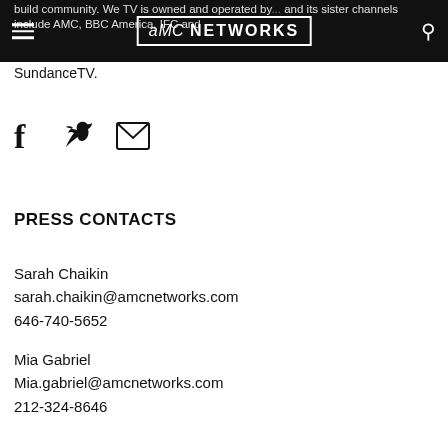AMC Networks header with hamburger menu, AMC NETWORKS logo, and search icon
build community. We TV is owned and operated by... and its sister channels include AMC, BBC America, IFC and SundanceTV.
[Figure (other): Social share icons: Facebook, Twitter, Email envelope]
PRESS CONTACTS
Sarah Chaikin
sarah.chaikin@amcnetworks.com
646-740-5652
Mia Gabriel
Mia.gabriel@amcnetworks.com
212-324-8646